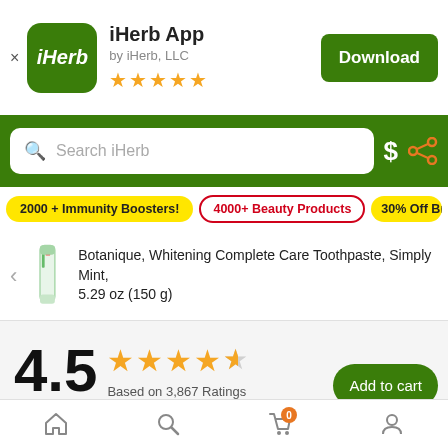[Figure (screenshot): iHerb app banner with logo, app name, developer name, star rating, and Download button]
iHerb App
by iHerb, LLC
Download
[Figure (screenshot): Green search bar with Search iHerb placeholder, dollar sign icon, and share icon]
Search iHerb
2000 + Immunity Boosters!
4000+ Beauty Products
30% Off Brain Boos...
Botanique, Whitening Complete Care Toothpaste, Simply Mint, 5.29 oz (150 g)
4.5
Based on 3,867 Ratings
Add to cart
5 Stars
[Figure (screenshot): Bottom navigation bar with home, search, cart (0 badge), and user icons]